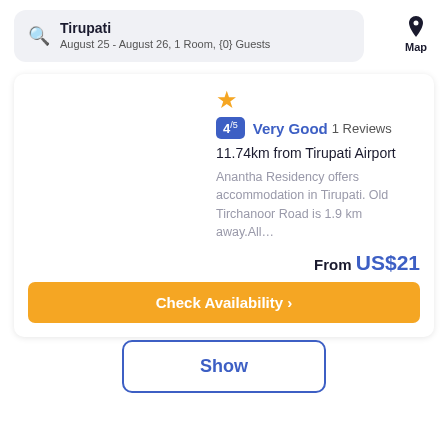Tirupati — August 25 - August 26, 1 Room, {0} Guests
4/5 Very Good 1 Reviews
11.74km from Tirupati Airport
Anantha Residency offers accommodation in Tirupati. Old Tirchanoor Road is 1.9 km away.All…
From US$21
Check Availability >
Show